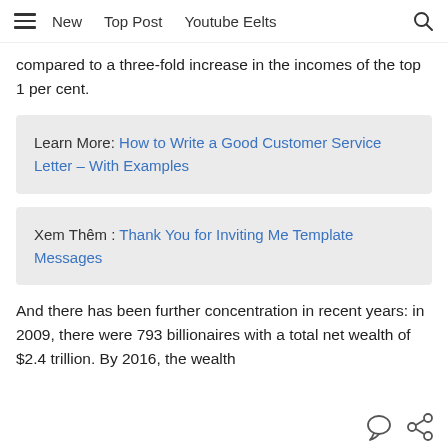New  Top Post  Youtube Eelts
compared to a three-fold increase in the incomes of the top 1 per cent.
Learn More: How to Write a Good Customer Service Letter – With Examples
Xem Thêm : Thank You for Inviting Me Template Messages
And there has been further concentration in recent years: in 2009, there were 793 billionaires with a total net wealth of $2.4 trillion. By 2016, the wealth